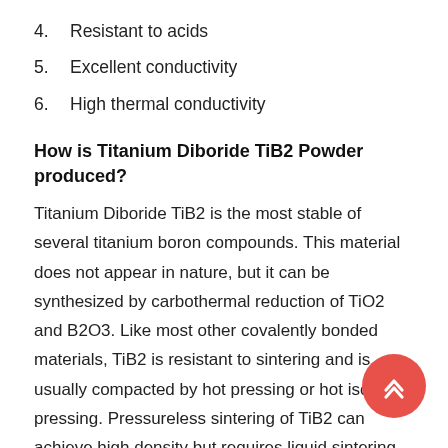4.   Resistant to acids
5.   Excellent conductivity
6.   High thermal conductivity
How is Titanium Diboride TiB2 Powder produced?
Titanium Diboride TiB2 is the most stable of several titanium boron compounds. This material does not appear in nature, but it can be synthesized by carbothermal reduction of TiO2 and B2O3. Like most other covalently bonded materials, TiB2 is resistant to sintering and is usually compacted by hot pressing or hot isostatic pressing. Pressureless sintering of TiB2 can achieve high density but requires liquid sintering aids such as iron, chromium and carbon.
TiB2 does not naturally exist on the earth. Titanium diboride powder can be prepared by various high-temperature methods such as direct reaction to prepare titanium or its oxide/hydride. When elemental boron exceeds 1000°C, carbothermal